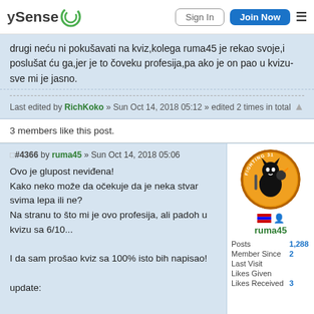ySense | Sign In | Join Now
drugi neću ni pokušavati na kviz,kolega ruma45 je rekao svoje,i poslušat ću ga,jer je to čoveku profesija,pa ako je on pao u kvizu-sve mi je jasno.
Last edited by RichKoko » Sun Oct 14, 2018 05:12 » edited 2 times in total
3 members like this post.
#4366 by ruma45 » Sun Oct 14, 2018 05:06
Ovo je glupost neviđena!
Kako neko može da očekuje da je neka stvar svima lepa ili ne?
Na stranu to što mi je ovo profesija, ali padoh u kvizu sa 6/10...

I da sam prošao kviz sa 100% isto bih napisao!

update:

upravo mi je TA uradio korekciju sa 6/10 na 5/10 😀 😀 😀 😀
[Figure (illustration): Avatar image of ruma45: orange circle with Fighting 31 squadron cat emblem]
ruma45
Posts 1,288
Member Since
Last Visit
Likes Given
Likes Received 3